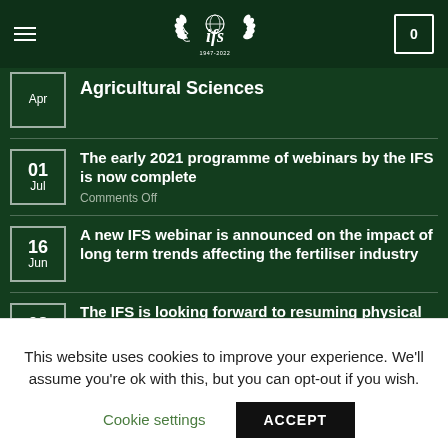IFS — International Fertiliser Society (1947-2022)
Apr — Agricultural Sciences
01 Jul — The early 2021 programme of webinars by the IFS is now complete. Comments Off
16 Jun — A new IFS webinar is announced on the impact of long term trends affecting the fertiliser industry
02 Jun — The IFS is looking forward to resuming physical conferences
This website uses cookies to improve your experience. We'll assume you're ok with this, but you can opt-out if you wish. Cookie settings  ACCEPT